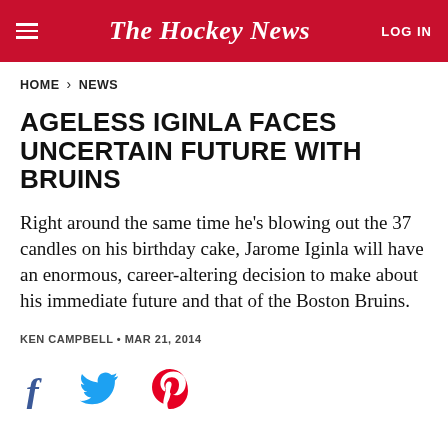The Hockey News | LOG IN
HOME > NEWS
AGELESS IGINLA FACES UNCERTAIN FUTURE WITH BRUINS
Right around the same time he's blowing out the 37 candles on his birthday cake, Jarome Iginla will have an enormous, career-altering decision to make about his immediate future and that of the Boston Bruins.
KEN CAMPBELL • MAR 21, 2014
[Figure (other): Social share icons: Facebook (f), Twitter (bird), Pinterest (P)]